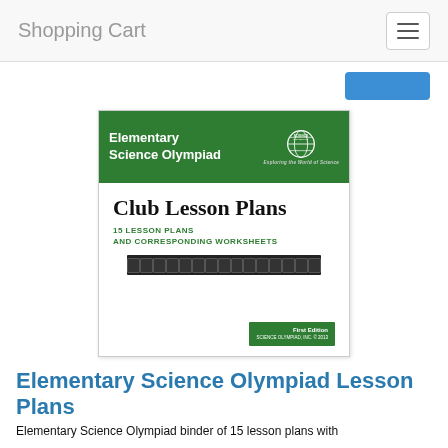Shopping Cart
[Figure (photo): Book cover of Elementary Science Olympiad Club Lesson Plans, First Edition. Green header with title and Science Olympiad globe logo. Main body shows title 'Club Lesson Plans', '15 LESSON PLANS AND CORRESPONDING WORKSHEETS', and a row of science activity icons.]
Elementary Science Olympiad Lesson Plans
Elementary Science Olympiad binder of 15 lesson plans with